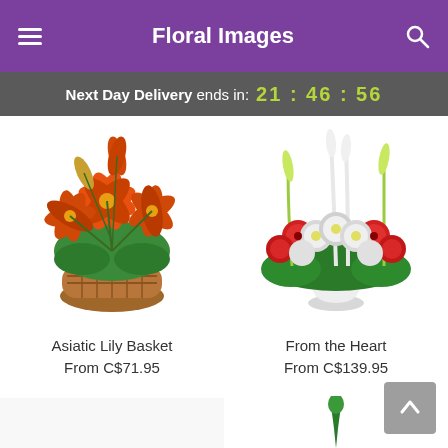Floral Images
Next Day Delivery ends in: 21 : 46 : 56
[Figure (photo): Asiatic Lily Basket - orange lilies in a wicker basket]
Asiatic Lily Basket
From C$71.95
[Figure (photo): From the Heart - red and white flowers in a white vase]
From the Heart
From C$139.95